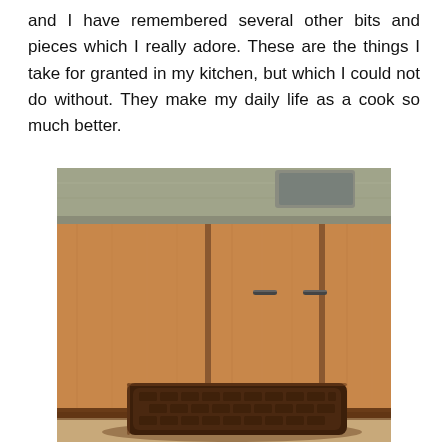and I have remembered several other bits and pieces which I really adore. These are the things I take for granted in my kitchen, but which I could not do without. They make my daily life as a cook so much better.
[Figure (photo): A dark brown crocodile-textured anti-fatigue kitchen mat on a beige floor in front of wooden kitchen cabinets with a stone countertop.]